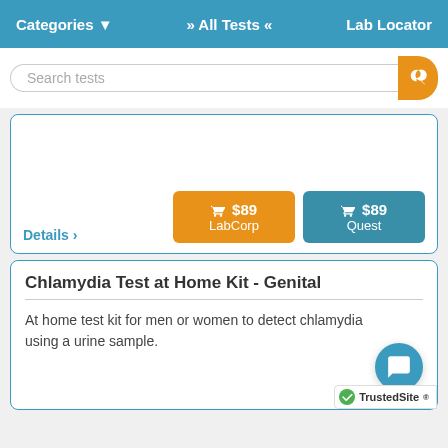Categories ▾    » All Tests «    Lab Locator
Search tests
$89 LabCorp
$89 Quest
Details >
Chlamydia Test at Home Kit - Genital
At home test kit for men or women to detect chlamydia using a urine sample.